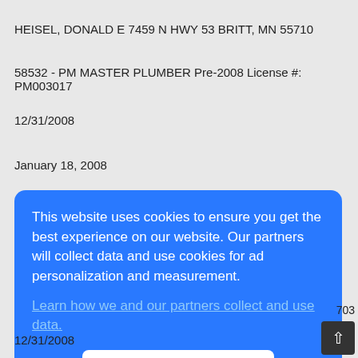HEISEL, DONALD E 7459 N HWY 53 BRITT, MN 55710
58532 - PM MASTER PLUMBER Pre-2008 License #: PM003017
12/31/2008
January 18, 2008
This website uses cookies to ensure you get the best experience on our website. Our partners will collect data and use cookies for ad personalization and measurement.
Learn how we and our partners collect and use data.
OK
703
12/31/2008